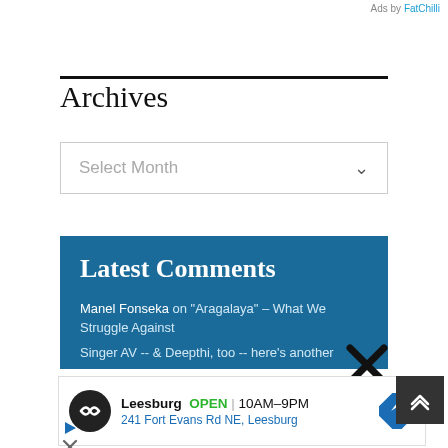Ads by FatChilli
Archives
Select Month
Latest Comments
Manel Fonseka on “Aragalaya” – What We Struggle Against
Singer AV -- & Deepthi, too -- here's another
[Figure (infographic): Advertisement banner for a Leesburg store showing logo, OPEN status, hours 10AM-9PM, address 241 Fort Evans Rd NE, Leesburg, and a direction icon.]